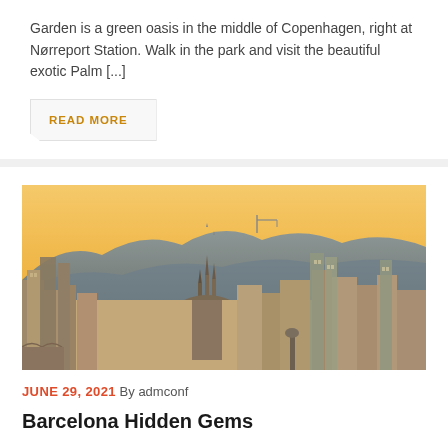Garden is a green oasis in the middle of Copenhagen, right at Nørreport Station. Walk in the park and visit the beautiful exotic Palm [...]
READ MORE
[Figure (photo): Aerial cityscape of Barcelona at sunset with Sagrada Família visible in the center, mountains in the background, orange-tinted sky]
JUNE 29, 2021  By admconf
Barcelona Hidden Gems